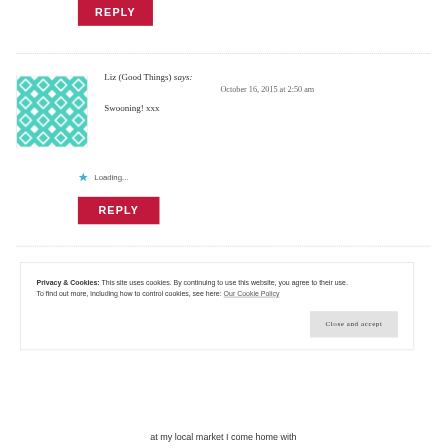[Figure (other): Red REPLY button at top of page]
Liz (Good Things) says:
October 16, 2015 at 2:50 am

Swooning! xxx
[Figure (illustration): Teal/cyan geometric quilt pattern avatar image with white background and light gray border]
Loading...
[Figure (other): Red REPLY button]
Privacy & Cookies: This site uses cookies. By continuing to use this website, you agree to their use.
To find out more, including how to control cookies, see here: Our Cookie Policy
Close and accept
at my local market I come home with